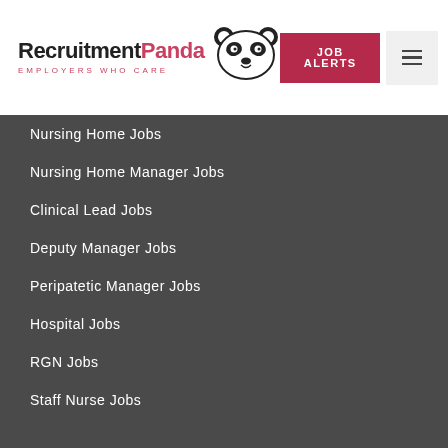[Figure (logo): Recruitment Panda logo with panda icon and tagline EMPLOYERS WHO CARE]
Nursing Home Jobs
Nursing Home Manager Jobs
Clinical Lead Jobs
Deputy Manager Jobs
Peripatetic Manager Jobs
Hospital Jobs
RGN Jobs
Staff Nurse Jobs